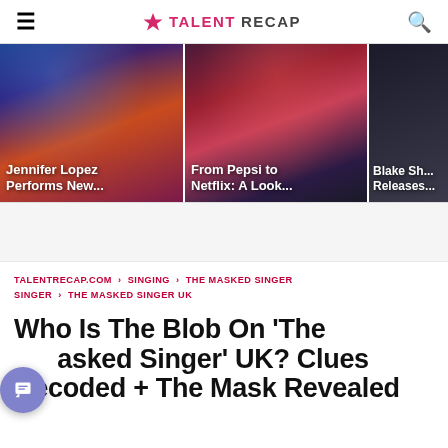TALENT RECAP
[Figure (photo): Jennifer Lopez performing on stage with text overlay 'Jennifer Lopez Performs New...']
[Figure (photo): Two women at an event with text overlay 'From Pepsi to Netflix: A Look...']
[Figure (photo): Partial image with text overlay 'Blake Sh... Releases...']
TALENTRECAP.COM › SINGING › THE MASKED SINGER › THE MASKED SINGER UK
Who Is The Blob On ‘The Masked Singer’ UK? Clues Decoded + The Mask Revealed